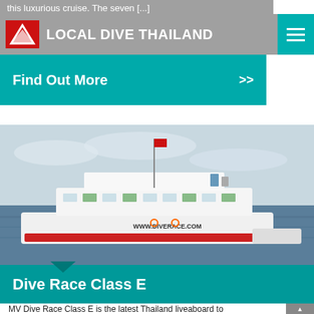this luxurious cruise. The seven [...]
LOCAL DIVE THAILAND
Find Out More >>
[Figure (photo): Aerial photo of MV Dive Race Class E liveaboard boat on calm ocean water, with website www.diverace.com visible on hull]
Dive Race Class E
MV Dive Race Class E is the latest Thailand liveaboard to